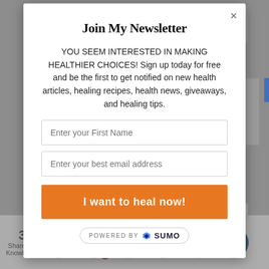[Figure (screenshot): Background of a website page showing grey boxes and a blue strip, partially visible behind a modal overlay]
Join My Newsletter
YOU SEEM INTERESTED IN MAKING HEALTHIER CHOICES! Sign up today for free and be the first to get notified on new health articles, healing recipes, health news, giveaways, and healing tips.
Enter your First Name
Enter your best email address
I want to heal now!
[Figure (logo): POWERED BY SUMO badge with crown icon]
3
Share the Knowledge
[Figure (infographic): Social media share icons: Facebook, Pinterest (with badge 3), Twitter, LinkedIn, WhatsApp, and a crown/bookmark icon]